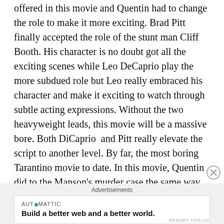offered in this movie and Quentin had to change the role to make it more exciting. Brad Pitt finally accepted the role of the stunt man Cliff Booth. His character is no doubt got all the exciting scenes while Leo DeCaprio play the more subdued role but Leo really embraced his character and make it exciting to watch through subtle acting expressions. Without the two heavyweight leads, this movie will be a massive bore. Both DiCaprio  and Pitt really elevate the script to another level. By far, the most boring Tarantino movie to date. In this movie, Quentin did to the Manson's murder case the same way he did to Hitler's WWII in Inglorious Basterds: interweaving facts with fiction. I wonder why it cost 95 millions to make this movie because there is no pricey CGI in this movie and the period setting look gratuitous and pretty
Advertisements
[Figure (other): AUTOMATTIC advertisement banner: 'Build a better web and a better world.']